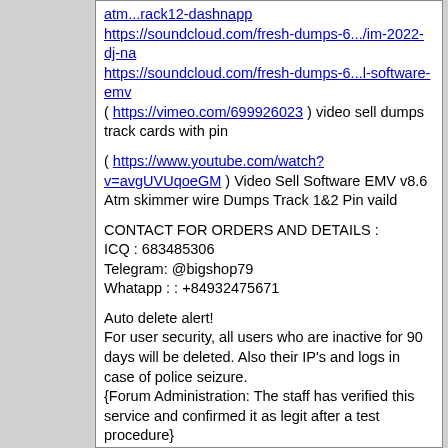atm...rack12-dashnapp https://soundcloud.com/fresh-dumps-6.../im-2022-dj-na https://soundcloud.com/fresh-dumps-6...l-software-emv ( https://vimeo.com/699926023 ) video sell dumps track cards with pin
( https://www.youtube.com/watch?v=avgUVUqoeGM ) Video Sell Software EMV v8.6 Atm skimmer wire Dumps Track 1&2 Pin vaild
CONTACT FOR ORDERS AND DETAILS : ICQ : 683485306 Telegram: @bigshop79 Whatapp : : +84932475671
Auto delete alert! For user security, all users who are inactive for 90 days will be deleted. Also their IP's and logs in case of police seizure. {Forum Administration: The staff has verified this service and confirmed it as legit after a test procedure} This thread was last edited: 6 days ago ATM WITHDRAW - CLONED CARDS & ONLINE PREPAID CVV CARDS WITH BALANCE (WORLDWIDE SHIPPING)